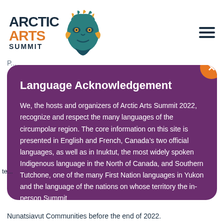[Figure (logo): Arctic Arts Summit logo with teal Indigenous art mask and wordmark]
Language Acknowledgement
We, the hosts and organizers of Arctic Arts Summit 2022, recognize and respect the many languages of the circumpolar region. The core information on this site is presented in English and French, Canada's two official languages, as well as in Inuktut, the most widely spoken Indigenous language in the North of Canada, and Southern Tutchone, one of the many First Nation languages in Yukon and the language of the nations on whose territory the in-person Summit
Nunatsiavut Communities before the end of 2022.